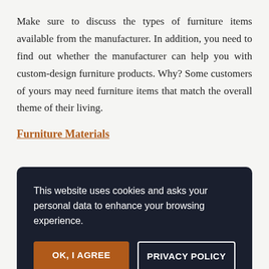Make sure to discuss the types of furniture items available from the manufacturer. In addition, you need to find out whether the manufacturer can help you with custom-design furniture products. Why? Some customers of yours may need furniture items that match the overall theme of their living.
Furniture Materials
This website uses cookies and asks your personal data to enhance your browsing experience.
OK, I AGREE
PRIVACY POLICY
...many t... ...duce f... ...is a g... ...mber m... ...more. O... ...and bamboo. They produce furniture with unique look